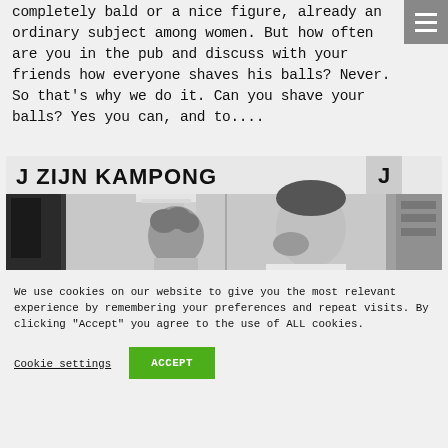completely bald or a nice figure, already an ordinary subject among women. But how often are you in the pub and discuss with your friends how everyone shaves his balls? Never. So that's why we do it. Can you shave your balls? Yes you can, and to....
[Figure (photo): Black and white photo of a barbershop interior with sign reading 'J ZIJN KAMPONG', showing a person with curly hair in foreground and a bearded man looking to the side]
We use cookies on our website to give you the most relevant experience by remembering your preferences and repeat visits. By clicking "Accept" you agree to the use of ALL cookies.
Cookie settings | ACCEPT